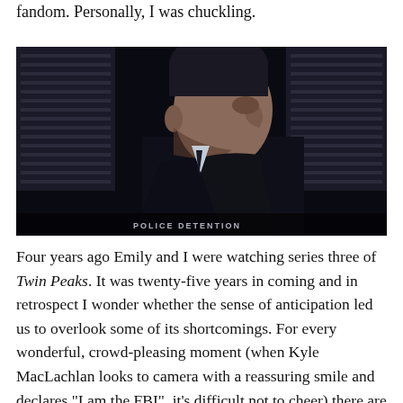fandom. Personally, I was chuckling.
[Figure (photo): A man in a dark suit viewed from a side profile angle, looking slightly upward. Dark moody lighting, appears to be a still from the TV series Twin Peaks. Text overlay at bottom reads 'POLICE DETENTION'.]
Four years ago Emily and I were watching series three of Twin Peaks. It was twenty-five years in coming and in retrospect I wonder whether the sense of anticipation led us to overlook some of its shortcomings. For every wonderful, crowd-pleasing moment (when Kyle MacLachlan looks to camera with a reassuring smile and declares "I am the FBI", it's difficult not to cheer) there are